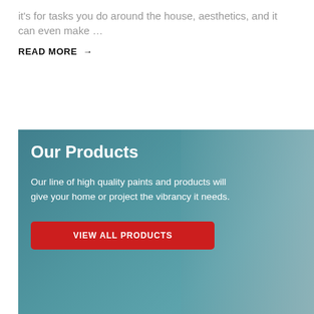it's for tasks you do around the house, aesthetics, and it can even make …
READ MORE →
[Figure (photo): Person painting a wall teal/dark blue with a paint roller; promotional banner for a paint products company]
Our Products
Our line of high quality paints and products will give your home or project the vibrancy it needs.
VIEW ALL PRODUCTS